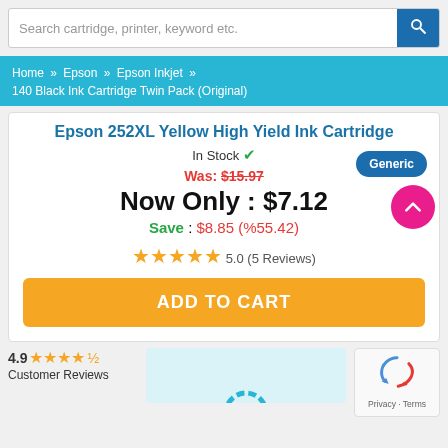Search cartridge, printer, keyword etc.
Home » Epson » Epson Inkjet » 140 Black Ink Cartridge Twin Pack (Original)
Epson 252XL Yellow High Yield Ink Cartridge
In Stock ✓
Was: $15.97
Now Only : $7.12
Save : $8.85 (%55.42)
Generic
★★★★★ 5.0 (5 Reviews)
ADD TO CART
4.9 ★★★★½ Customer Reviews